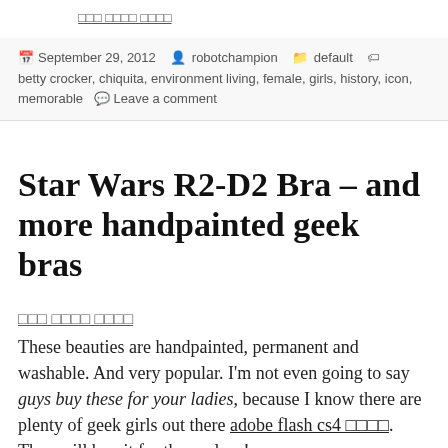September 29, 2012  robotchampion  default  betty crocker, chiquita, environment living, female, girls, history, icon, memorable  Leave a comment
Star Wars R2-D2 Bra – and more handpainted geek bras
These beauties are handpainted, permanent and washable. And very popular. I'm not even going to say guys buy these for your ladies, because I know there are plenty of geek girls out there adobe flash cs4 □□□□. They will buy it for themselves!